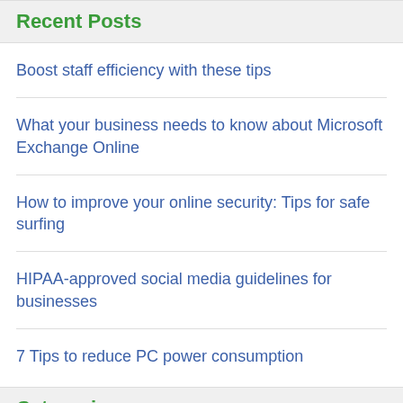Recent Posts
Boost staff efficiency with these tips
What your business needs to know about Microsoft Exchange Online
How to improve your online security: Tips for safe surfing
HIPAA-approved social media guidelines for businesses
7 Tips to reduce PC power consumption
Categories